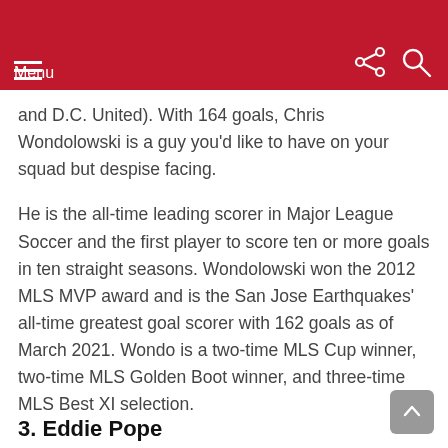Menu
and D.C. United). With 164 goals, Chris Wondolowski is a guy you’d like to have on your squad but despise facing.
He is the all-time leading scorer in Major League Soccer and the first player to score ten or more goals in ten straight seasons. Wondolowski won the 2012 MLS MVP award and is the San Jose Earthquakes’ all-time greatest goal scorer with 162 goals as of March 2021. Wondo is a two-time MLS Cup winner, two-time MLS Golden Boot winner, and three-time MLS Best XI selection.
3. Eddie Pope